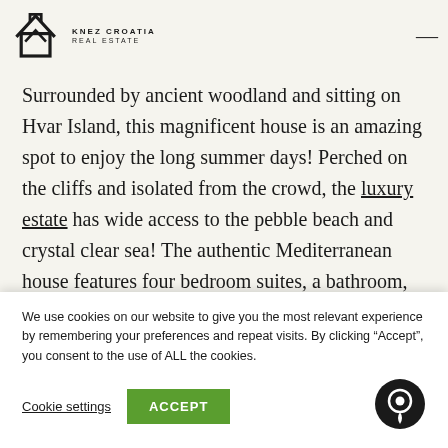KNEZ CROATIA REAL ESTATE
Surrounded by ancient woodland and sitting on Hvar Island, this magnificent house is an amazing spot to enjoy the long summer days! Perched on the cliffs and isolated from the crowd, the luxury estate has wide access to the pebble beach and crystal clear sea! The authentic Mediterranean house features four bedroom suites, a bathroom, and a large living room and
We use cookies on our website to give you the most relevant experience by remembering your preferences and repeat visits. By clicking “Accept”, you consent to the use of ALL the cookies.
Cookie settings   ACCEPT